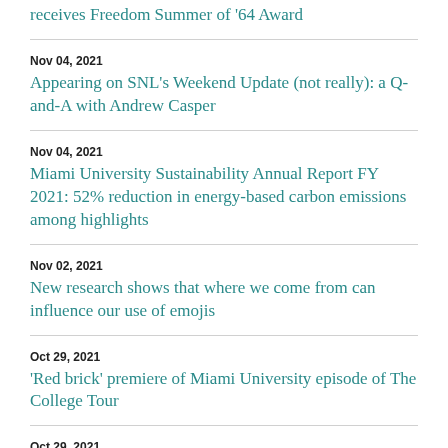receives  Freedom Summer of '64 Award
Nov 04, 2021
Appearing on SNL's Weekend Update (not really): a Q-and-A with Andrew Casper
Nov 04, 2021
Miami University Sustainability Annual Report FY 2021: 52% reduction in energy-based carbon emissions among highlights
Nov 02, 2021
New research shows that where we come from can influence our use of emojis
Oct 29, 2021
'Red brick' premiere of Miami University episode of The College Tour
Oct 29, 2021